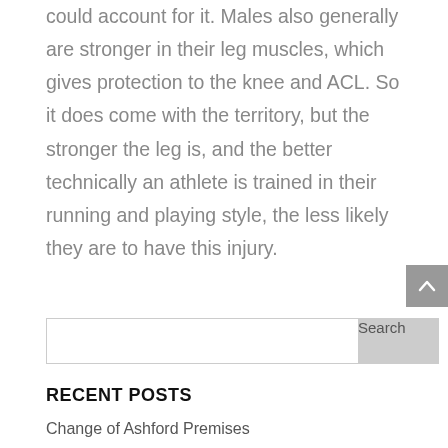could account for it. Males also generally are stronger in their leg muscles, which gives protection to the knee and ACL. So it does come with the territory, but the stronger the leg is, and the better technically an athlete is trained in their running and playing style, the less likely they are to have this injury.
Search
RECENT POSTS
Change of Ashford Premises